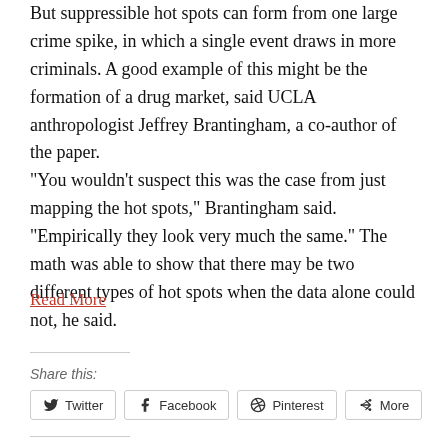But suppressible hot spots can form from one large crime spike, in which a single event draws in more criminals. A good example of this might be the formation of a drug market, said UCLA anthropologist Jeffrey Brantingham, a co-author of the paper. “You wouldn’t suspect this was the case from just mapping the hot spots,” Brantingham said. “Empirically they look very much the same.” The math was able to show that there may be two different types of hot spots when the data alone could not, he said.
Read More
Share this:
Twitter
Facebook
Pinterest
More